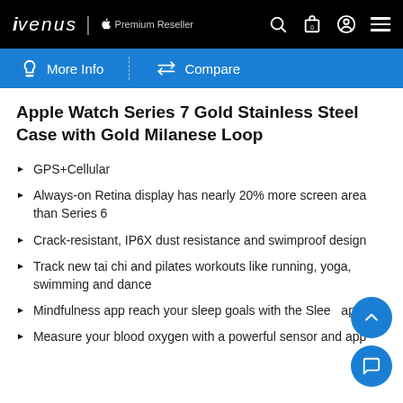iVenus | Apple Premium Reseller
More Info   Compare
Apple Watch Series 7 Gold Stainless Steel Case with Gold Milanese Loop
GPS+Cellular
Always-on Retina display has nearly 20% more screen area than Series 6
Crack-resistant, IP6X dust resistance and swimproof design
Track new tai chi and pilates workouts like running, yoga, swimming and dance
Mindfulness app reach your sleep goals with the Sleep app
Measure your blood oxygen with a powerful sensor and app